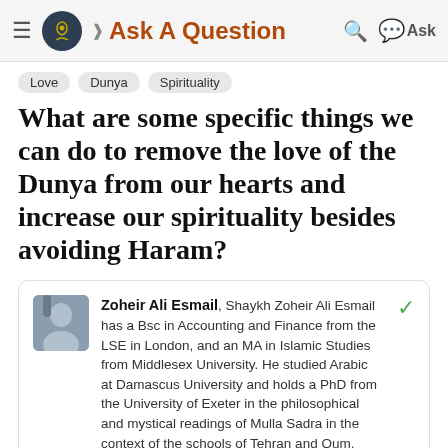Ask A Question
Love
Dunya
Spirituality
What are some specific things we can do to remove the love of the Dunya from our hearts and increase our spirituality besides avoiding Haram?
Zoheir Ali Esmail, Shaykh Zoheir Ali Esmail has a Bsc in Accounting and Finance from the LSE in London, and an MA in Islamic Studies from Middlesex University. He studied Arabic at Damascus University and holds a PhD from the University of Exeter in the philosophical and mystical readings of Mulla Sadra in the context of the schools of Tehran and Qum.